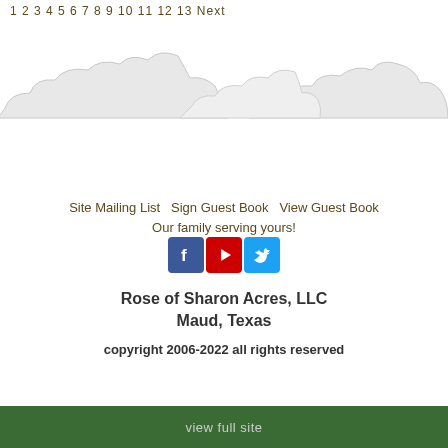1 2 3 4 5 6 7 8 9 10 11 12 13 Next
[Figure (illustration): Decorative cloud silhouette illustration in light gray across the top of the page]
Site Mailing List  Sign Guest Book  View Guest Book
Our family serving yours!
[Figure (illustration): Social media icons: Facebook (blue), YouTube (red play button), Twitter (light blue bird)]
Rose of Sharon Acres, LLC
Maud, Texas
copyright 2006-2022 all rights reserved
view full site